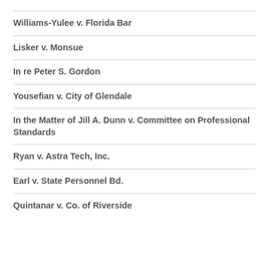Williams-Yulee v. Florida Bar
Lisker v. Monsue
In re Peter S. Gordon
Yousefian v. City of Glendale
In the Matter of Jill A. Dunn v. Committee on Professional Standards
Ryan v. Astra Tech, Inc.
Earl v. State Personnel Bd.
Quintanar v. Co. of Riverside